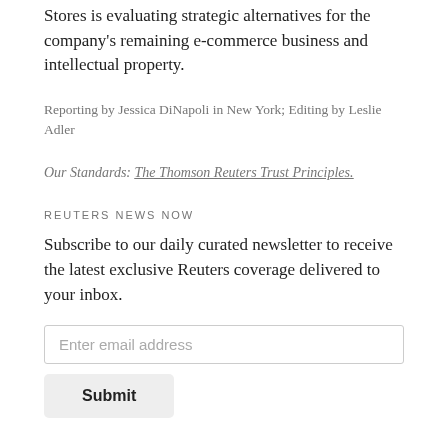Stores is evaluating strategic alternatives for the company's remaining e-commerce business and intellectual property.
Reporting by Jessica DiNapoli in New York; Editing by Leslie Adler
Our Standards: The Thomson Reuters Trust Principles.
REUTERS NEWS NOW
Subscribe to our daily curated newsletter to receive the latest exclusive Reuters coverage delivered to your inbox.
Enter email address
Submit